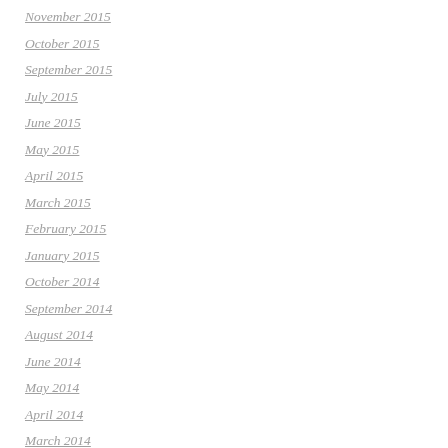November 2015
October 2015
September 2015
July 2015
June 2015
May 2015
April 2015
March 2015
February 2015
January 2015
October 2014
September 2014
August 2014
June 2014
May 2014
April 2014
March 2014
February 2014
January 2014